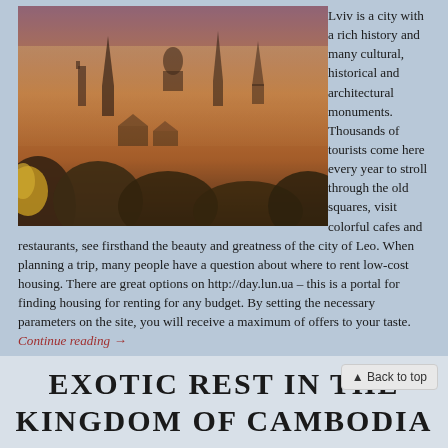[Figure (photo): Aerial/elevated view of Lviv city skyline at dusk/dawn with church spires, rooftops, trees, and warm orange-purple atmospheric light]
Lviv is a city with a rich history and many cultural, historical and architectural monuments. Thousands of tourists come here every year to stroll through the old squares, visit colorful cafes and restaurants, see firsthand the beauty and greatness of the city of Leo. When planning a trip, many people have a question about where to rent low-cost housing. There are great options on http://day.lun.ua – this is a portal for finding housing for renting for any budget. By setting the necessary parameters on the site, you will receive a maximum of offers to your taste. Continue reading →
Posted in Also vacationers, ancient nunneries, Barcelona cruise port, comes the understanding, everyday fuss surrounding
EXOTIC REST IN THE KINGDOM OF CAMBODIA